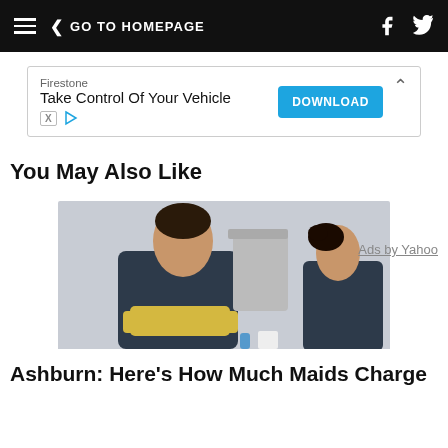GO TO HOMEPAGE
[Figure (illustration): Advertisement banner: Firestone - Take Control Of Your Vehicle with a blue DOWNLOAD button and ad icons]
You May Also Like
Ads by Yahoo
[Figure (photo): A smiling woman in dark scrubs with yellow rubber gloves crossed over her chest, a second woman in the background in a clinical or office cleaning setting]
Ashburn: Here's How Much Maids Charge